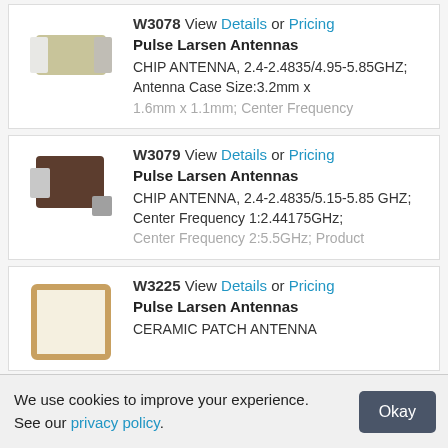W3078 View Details or Pricing — Pulse Larsen Antennas — CHIP ANTENNA, 2.4-2.4835/4.95-5.85GHZ; Antenna Case Size:3.2mm x 1.6mm x 1.1mm; Center Frequency
W3079 View Details or Pricing — Pulse Larsen Antennas — CHIP ANTENNA, 2.4-2.4835/5.15-5.85 GHZ; Center Frequency 1:2.44175GHz; Center Frequency 2:5.5GHz; Product
W3225 View Details or Pricing — Pulse Larsen Antennas — CERAMIC PATCH ANTENNA
We use cookies to improve your experience. See our privacy policy.